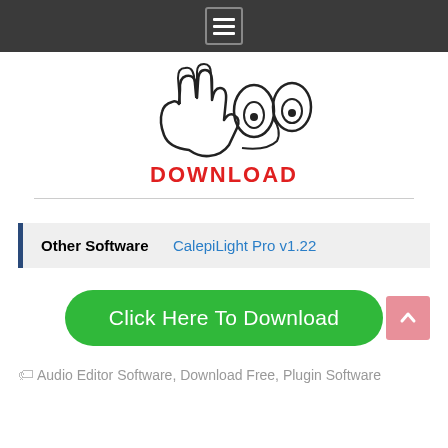Menu
[Figure (logo): Hand gesture and eye cartoon logo drawn in black ink sketch style]
DOWNLOAD
Other Software  CalepiLight Pro v1.22
Click Here To Download
Audio Editor Software, Download Free, Plugin Software